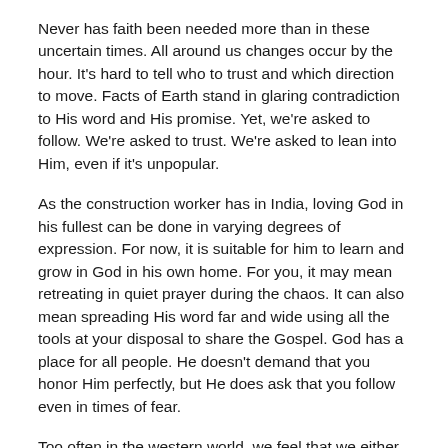Never has faith been needed more than in these uncertain times. All around us changes occur by the hour. It's hard to tell who to trust and which direction to move. Facts of Earth stand in glaring contradiction to His word and His promise. Yet, we're asked to follow. We're asked to trust. We're asked to lean into Him, even if it's unpopular.
As the construction worker has in India, loving God in his fullest can be done in varying degrees of expression. For now, it is suitable for him to learn and grow in God in his own home. For you, it may mean retreating in quiet prayer during the chaos. It can also mean spreading His word far and wide using all the tools at your disposal to share the Gospel. God has a place for all people. He doesn't demand that you honor Him perfectly, but He does ask that you follow even in times of fear.
Too often in the western world, we feel that we either have to wear our faith on our sleeve or not have it at all. Moreover, a time where it seems science, politics, and culture leave little room for God, it's easy to feel as our friend in India does—like you're destined to face persecution if you speak Christian values.